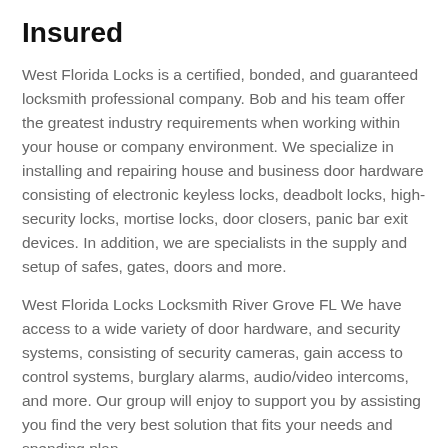Insured
West Florida Locks is a certified, bonded, and guaranteed locksmith professional company. Bob and his team offer the greatest industry requirements when working within your house or company environment. We specialize in installing and repairing house and business door hardware consisting of electronic keyless locks, deadbolt locks, high-security locks, mortise locks, door closers, panic bar exit devices. In addition, we are specialists in the supply and setup of safes, gates, doors and more.
West Florida Locks Locksmith River Grove FL We have access to a wide variety of door hardware, and security systems, consisting of security cameras, gain access to control systems, burglary alarms, audio/video intercoms, and more. Our group will enjoy to support you by assisting you find the very best solution that fits your needs and spending plan.